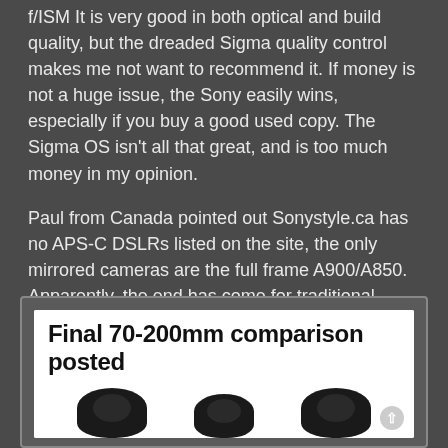f/ISM It is very good in both optical and build quality, but the dreaded Sigma quality control makes me not want to recommend it.  If money is not a huge issue, the Sony easily wins, especially if you buy a good used copy.  The Sigma OS isn't all that great, and is too much money in my opinion.
Paul from Canada pointed out Sonystyle.ca has no APS-C DSLRs listed on the site, the only mirrored cameras are the full frame A900/A850.  Apparently, the end has come for traditional APS-C cameras from Sony, at least in Canada! I'm guessing the tragedy in Japan and the continuing manufacturing problems has Sony reassessing product priorities, and only the newer stuff will be advanced.
[Figure (screenshot): Embedded blog post preview showing title 'Final 70-200mm comparison posted' with three camera lens images below it on a white background, inside a rounded dark-bordered box.]